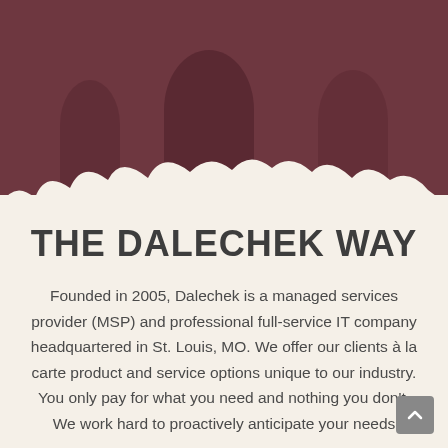[Figure (photo): Hero image showing people in an office/workplace setting with a dark reddish-purple overlay and decorative cloud border at the bottom]
THE DALECHEK WAY
Founded in 2005, Dalechek is a managed services provider (MSP) and professional full-service IT company headquartered in St. Louis, MO. We offer our clients à la carte product and service options unique to our industry. You only pay for what you need and nothing you don't. We work hard to proactively anticipate your needs